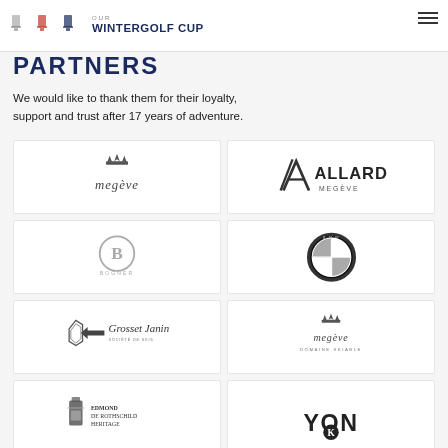OUR WINTERGOLF CUP PARTNERS
PARTNERS
We would like to thank them for their loyalty, support and trust after 17 years of adventure.
[Figure (logo): Megève logo with crown emblem and italic serif text]
[Figure (logo): Allard Megève logo with stylized A and bold text]
[Figure (logo): Bogner logo with B in circle]
[Figure (logo): BMW logo circular roundel in greyscale]
[Figure (logo): Grosset Janin logo with script text and emblem]
[Figure (logo): Megève Domaine Skiable logo]
[Figure (logo): Edmond de Rothschild Heritage logo]
[Figure (logo): YON-KA logo]